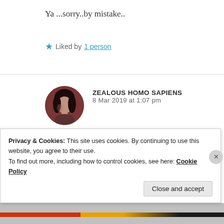Ya ...sorry..by mistake..
★ Liked by 1 person
[Figure (photo): Circular avatar photo of user Zealous Homo Sapiens, showing a person with dark hair against a dark reddish-brown background]
ZEALOUS HOMO SAPIENS
8 Mar 2019 at 1:07 pm
No problem!
Privacy & Cookies: This site uses cookies. By continuing to use this website, you agree to their use.
To find out more, including how to control cookies, see here: Cookie Policy
Close and accept